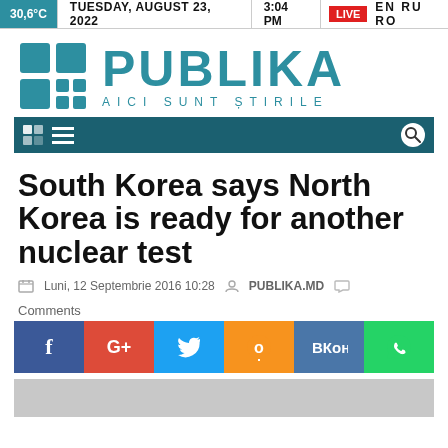30,6°C  TUESDAY, AUGUST 23, 2022  3:04 PM  LIVE  EN RU RO
[Figure (logo): Publika logo with teal grid icon and text PUBLIKA AICI SUNT ȘTIRILE]
[Figure (screenshot): Navigation bar with grid icon, hamburger menu on dark teal background, and search icon]
South Korea says North Korea is ready for another nuclear test
Luni, 12 Septembrie 2016 10:28  PUBLIKA.MD
Comments
[Figure (infographic): Social share buttons: Facebook, Google+, Twitter, Odnoklassniki, VKontakte, WhatsApp]
[Figure (photo): Partial photo at bottom of page]